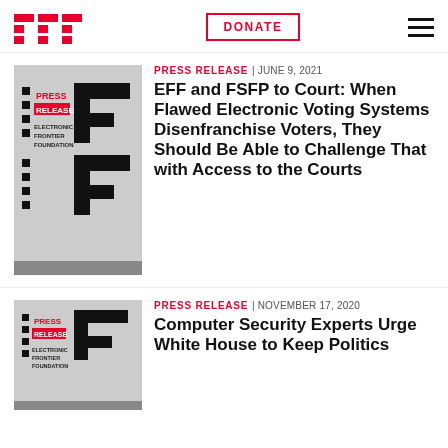EFF | DONATE | Navigation menu
[Figure (logo): EFF press release thumbnail image with PRESS RELEASE text and EFF logo]
PRESS RELEASE | JUNE 9, 2021
EFF and FSFP to Court: When Flawed Electronic Voting Systems Disenfranchise Voters, They Should Be Able to Challenge That with Access to the Courts
[Figure (logo): EFF press release thumbnail image with PRESS RELEASE text and EFF logo]
PRESS RELEASE | NOVEMBER 17, 2020
Computer Security Experts Urge White House to Keep Politics